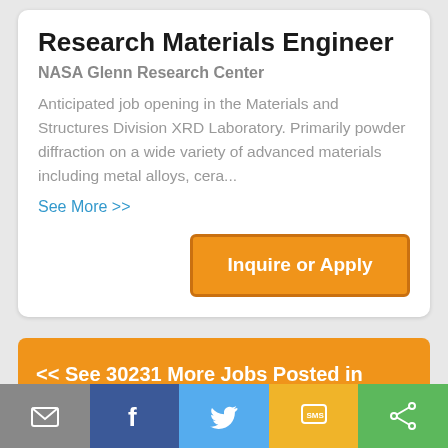Research Materials Engineer
NASA Glenn Research Center
Anticipated job opening in the Materials and Structures Division XRD Laboratory. Primarily powder diffraction on a wide variety of advanced materials including metal alloys, cera...
See More >>
[Figure (other): Orange button labeled Inquire or Apply]
<< See 30231 More Jobs Posted in Whova Events
[Figure (other): Bottom toolbar with email, Facebook, Twitter, SMS, and share icons]